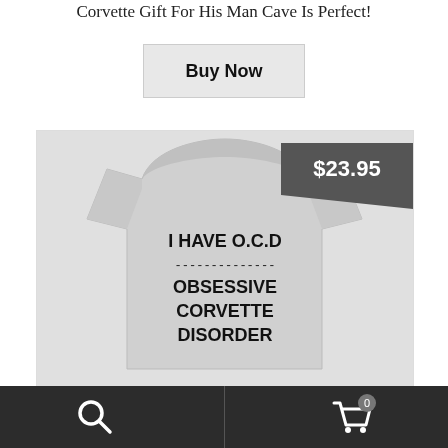Corvette Gift For His Man Cave Is Perfect!
Buy Now
[Figure (photo): A light grey t-shirt with text printed on front reading: I HAVE O.C.D -------------- OBSESSIVE CORVETTE DISORDER. Price tag shows $23.95 in a dark grey badge at upper right.]
Search icon | Cart icon with badge showing 0